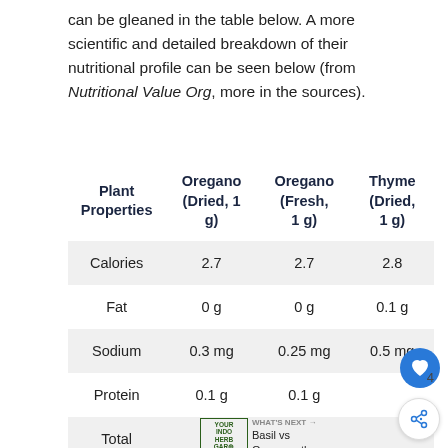can be gleaned in the table below. A more scientific and detailed breakdown of their nutritional profile can be seen below (from Nutritional Value Org, more in the sources).
| Plant Properties | Oregano (Dried, 1 g) | Oregano (Fresh, 1 g) | Thyme (Dried, 1 g) |
| --- | --- | --- | --- |
| Calories | 2.7 | 2.7 | 2.8 |
| Fat | 0 g | 0 g | 0.1 g |
| Sodium | 0.3 mg | 0.25 mg | 0.5 mg |
| Protein | 0.1 g | 0.1 g |  |
| Total | 0.7 g | 0.680 g | 0.6 g |